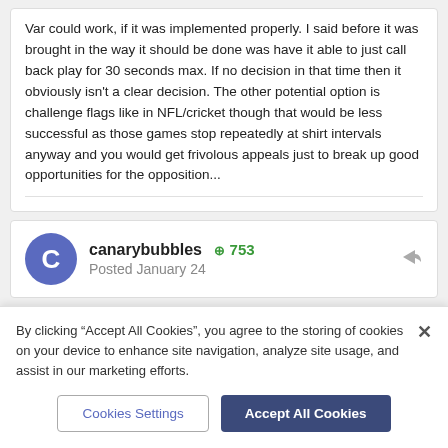Var could work, if it was implemented properly. I said before it was brought in the way it should be done was have it able to just call back play for 30 seconds max. If no decision in that time then it obviously isn't a clear decision. The other potential option is challenge flags like in NFL/cricket though that would be less successful as those games stop repeatedly at shirt intervals anyway and you would get frivolous appeals just to break up good opportunities for the opposition...
canarybubbles  +753
Posted January 24
By clicking "Accept All Cookies", you agree to the storing of cookies on your device to enhance site navigation, analyze site usage, and assist in our marketing efforts.